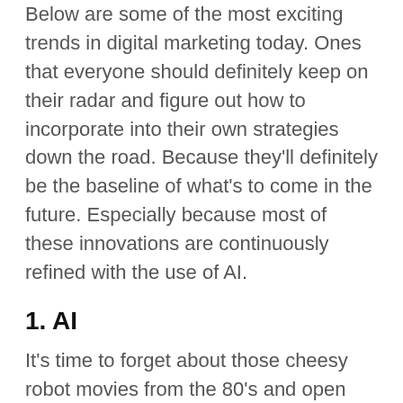Below are some of the most exciting trends in digital marketing today. Ones that everyone should definitely keep on their radar and figure out how to incorporate into their own strategies down the road. Because they'll definitely be the baseline of what's to come in the future. Especially because most of these innovations are continuously refined with the use of AI.
1. AI
It's time to forget about those cheesy robot movies from the 80's and open yourself up to the reality of what artificial intelligence has morphed into. The field of AI is actually pretty broad. Even when it comes to digital marketing. A lot of what AI does for digital marketing is the